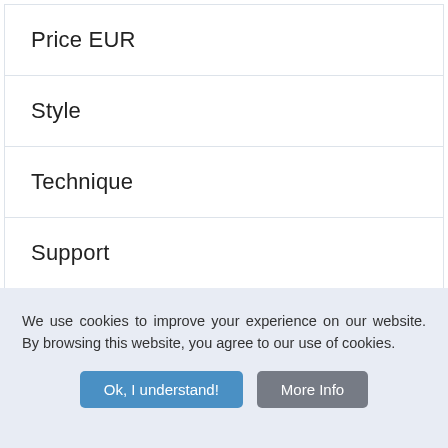Price EUR
Style
Technique
Support
Theme
We use cookies to improve your experience on our website. By browsing this website, you agree to our use of cookies.
Ok, I understand!
More Info